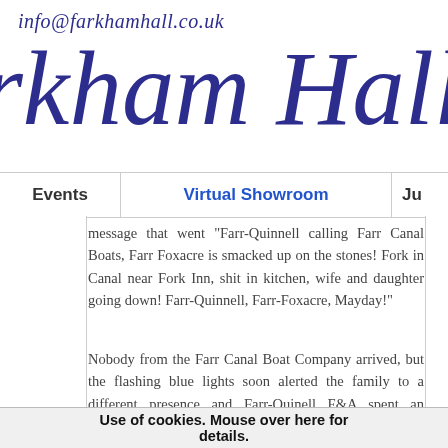info@farkhamhall.co.uk
rkham Hall
Events | Virtual Showroom | Ju
message that went "Farr-Quinnell calling Farr Canal Boats, Farr Foxacre is smacked up on the stones! Fork in Canal near Fork Inn, shit in kitchen, wife and daughter going down! Farr-Quinnell, Farr-Foxacre, Mayday!"
Nobody from the Farr Canal Boat Company arrived, but the flashing blue lights soon alerted the family to a different presence and Farr-Quinell F&A spent an uncomfortable night as guests of the Farkham Constabulary before the true meaning of the message was finally established. I guess the company must
Use of cookies. Mouse over here for details.